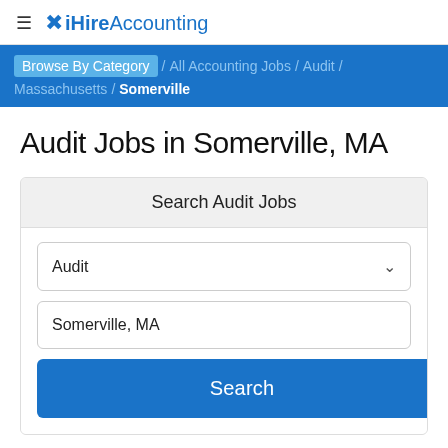≡ iHireAccounting
Browse By Category / All Accounting Jobs / Audit / Massachusetts / Somerville
Audit Jobs in Somerville, MA
Search Audit Jobs
Audit
Somerville, MA
Search
1-15 of 257 Jobs